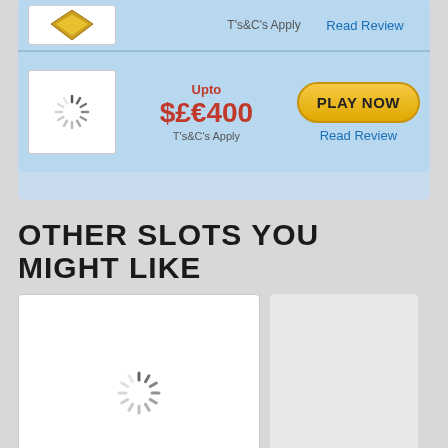[Figure (screenshot): Casino bonus card with loading spinner logo, showing Upto $£€400 bonus offer with Play Now button and Read Review link on blue background]
OTHER SLOTS YOU MIGHT LIKE
[Figure (screenshot): White card with loading spinner, representing a slot game thumbnail placeholder]